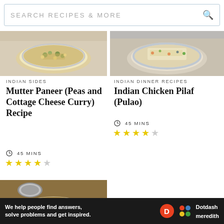SEARCH RECIPES & MORE
[Figure (photo): Bowl of Mutter Paneer (peas and cottage cheese curry) dish from above]
[Figure (photo): Bowl of Indian Chicken Pilaf (Pulao) from above]
INDIAN SIDES
Mutter Paneer (Peas and Cottage Cheese Curry) Recipe
45 MINS
★★★★☆ (4 out of 5 stars)
INDIAN DINNER RECIPES
Indian Chicken Pilaf (Pulao)
45 MINS
★★★★☆ (3.5 out of 5 stars)
[Figure (photo): Indian dish in metal serving bowl with pouring vessel]
[Figure (photo): Green curry with paneer in a bowl topped with cilantro]
We help people find answers, solve problems and get inspired.
Dotdash meredith